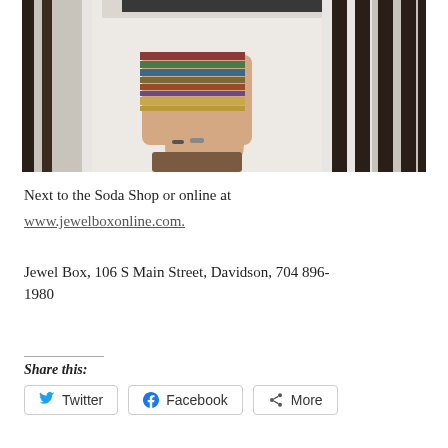[Figure (photo): Person wearing white jeans and a dark top, with multiple colorful bracelets and rings on their hand and wrist, leaning against a dark wooden fence.]
Next to the Soda Shop or online at www.jewelboxonline.com.
Jewel Box, 106 S Main Street, Davidson, 704 896-1980
Share this:
Twitter  Facebook  More